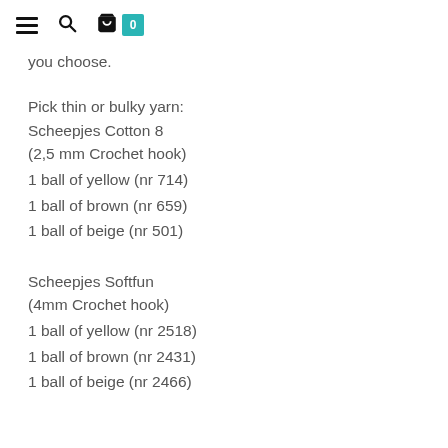≡  🔍  🛒  0
you choose.
Pick thin or bulky yarn:
Scheepjes Cotton 8
(2,5 mm Crochet hook)
1 ball of yellow (nr 714)
1 ball of brown (nr 659)
1 ball of beige (nr 501)
Scheepjes Softfun
(4mm Crochet hook)
1 ball of yellow (nr 2518)
1 ball of brown (nr 2431)
1 ball of beige (nr 2466)